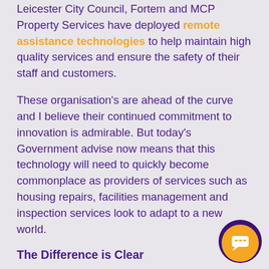Leicester City Council, Fortem and MCP Property Services have deployed remote assistance technologies to help maintain high quality services and ensure the safety of their staff and customers.
These organisation's are ahead of the curve and I believe their continued commitment to innovation is admirable. But today's Government advise now means that this technology will need to quickly become commonplace as providers of services such as housing repairs, facilities management and inspection services look to adapt to a new world.
The Difference is Clear
[Figure (other): Orange and dark purple circular chat widget button in bottom right corner]